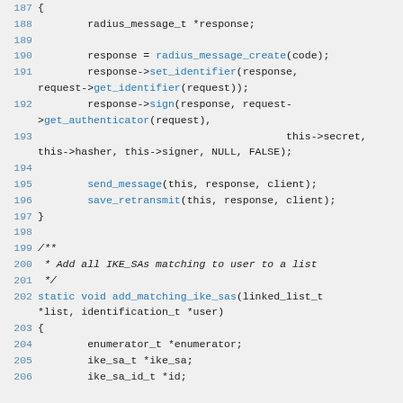Source code listing lines 187-206, C code for radius message and IKE SA functions